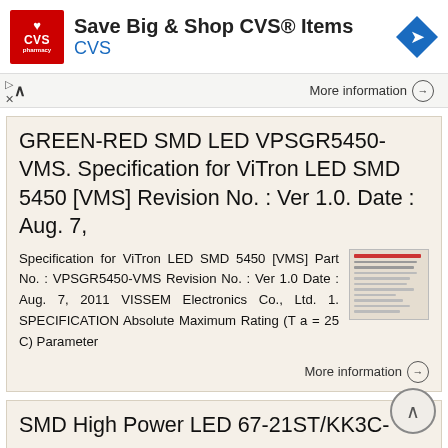[Figure (other): CVS Pharmacy advertisement banner: Save Big & Shop CVS® Items with CVS logo and navigation arrow icon]
More information →
GREEN-RED SMD LED VPSGR5450-VMS. Specification for ViTron LED SMD 5450 [VMS] Revision No. : Ver 1.0. Date : Aug. 7,
Specification for ViTron LED SMD 5450 [VMS] Part No. : VPSGR5450-VMS Revision No. : Ver 1.0 Date : Aug. 7, 2011 VISSEM Electronics Co., Ltd. 1. SPECIFICATION Absolute Maximum Rating (T a = 25 C) Parameter
More information →
SMD High Power LED 67-21ST/KK3C-